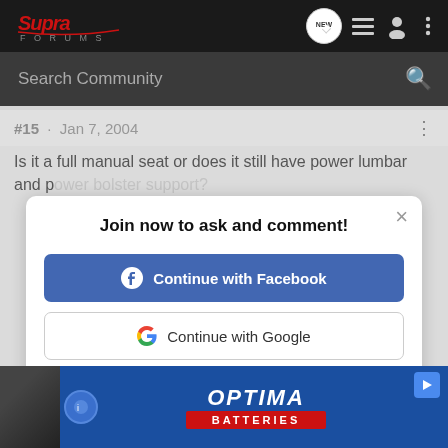Supra Forums — navigation bar with logo, NEW, list, user, and menu icons
Search Community
#15  ·  Jan 7, 2004
Is it a full manual seat or does it still have power lumbar and power bolster support?
[Figure (screenshot): Join now modal dialog with Continue with Facebook button, Continue with Google button, and 'or sign up with email' link]
Optima Batteries advertisement banner